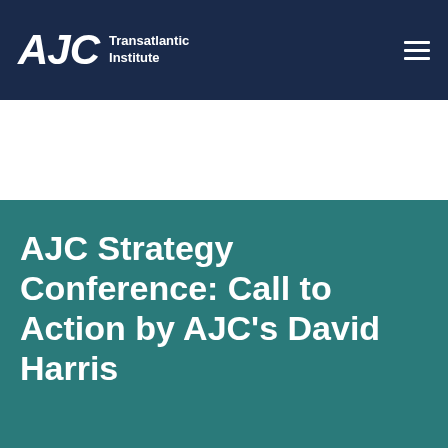AJC Transatlantic Institute
AJC Strategy Conference: Call to Action by AJC's David Harris
We use cookies on this site to enhance your user experience. By clicking any link on this page you are giving your consent for us to set cookies. More information can be found in our privacy statement.